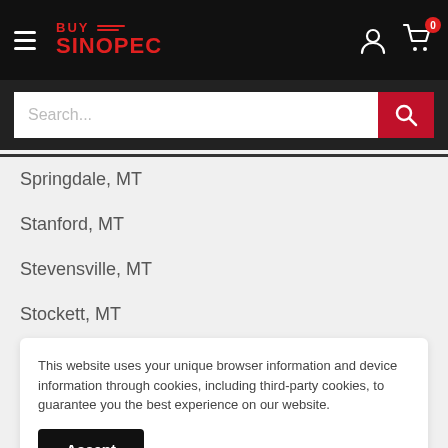BUY SINOPEC — navigation bar with hamburger menu, logo, user icon, cart icon (0 items)
[Figure (screenshot): Search bar with placeholder text 'Search...' and a red search button]
Springdale, MT
Stanford, MT
Stevensville, MT
Stockett, MT
Stryker, MT
Sula, MT
This website uses your unique browser information and device information through cookies, including third-party cookies, to guarantee you the best experience on our website.
Accept